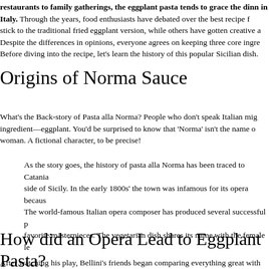restaurants to family gatherings, the eggplant pasta tends to grace the dinner tables in Italy. Through the years, food enthusiasts have debated over the best recipe for it. Some stick to the traditional fried eggplant version, while others have gotten creative and experimenting. Despite the differences in opinions, everyone agrees on keeping three core ingredients intact. Before diving into the recipe, let's learn the history of this popular Sicilian dish.
Origins of Norma Sauce
What's the Back-story of Pasta alla Norma? People who don't speak Italian might think it is the ingredient—eggplant. You'd be surprised to know that 'Norma' isn't the name of a vegetable or woman. A fictional character, to be precise!
As the story goes, the history of pasta alla Norma has been traced to Catania, on the eastern side of Sicily. In the early 1800s' the town was infamous for its opera because of Vincenzo Bellini. The world-famous Italian opera composer has produced several successful plays, but Norma was his favorite masterpieces. The vegetarian dish shares its name with the female lead of the opera.
How did an Opera Lead to Eggplant Pasta?
After watching his play, Bellini's friends began comparing everything great with